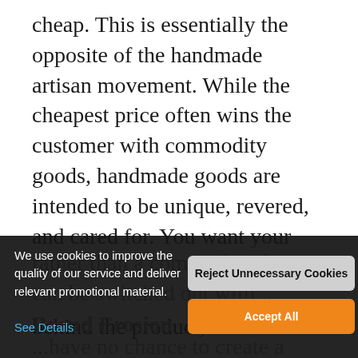cheap. This is essentially the opposite of the handmade artisan movement. While the cheapest price often wins the customer with commodity goods, handmade goods are intended to be unique, revered, and cared for. You want your customer to see you as a valuable brand or a human behind the product, rather than a commodity that can be switched out willi...
Brand Erosion
...have no chance to create a recognisable brand on Handmade...
We use cookies to improve the quality of our service and deliver relevant promotional material.
See Details
Reject Unnecessary Cookies
Accept All